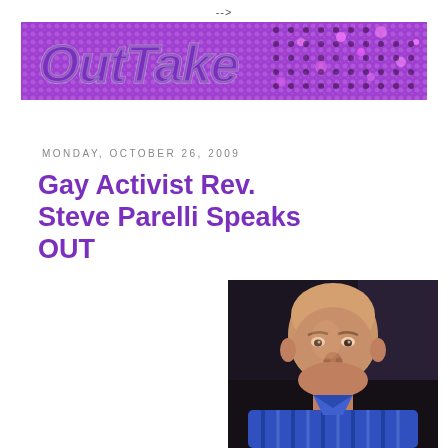-->
[Figure (illustration): OutTake magazine logo banner with purple glittery disco ball background and stylized purple text reading OUTTAKE]
MONDAY, OCTOBER 26, 2009
Gay Activist Rev. Steve Parelli Speaks OUT
[Figure (photo): Photograph of a bald middle-aged man smiling, wearing a blue striped shirt, taken in a dimly lit setting]